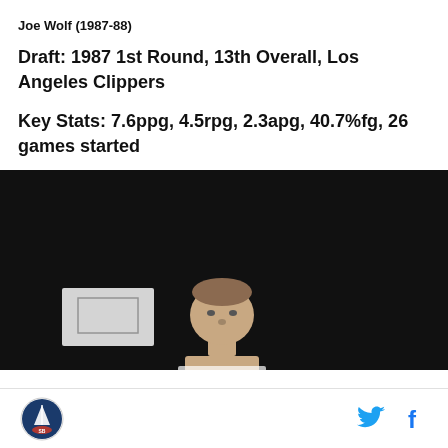Joe Wolf (1987-88)
Draft: 1987 1st Round, 13th Overall, Los Angeles Clippers
Key Stats: 7.6ppg, 4.5rpg, 2.3apg, 40.7%fg, 26 games started
[Figure (photo): Basketball player Joe Wolf on court with dark background, partial view of face and backboard visible]
SB Nation logo | Twitter icon | Facebook icon